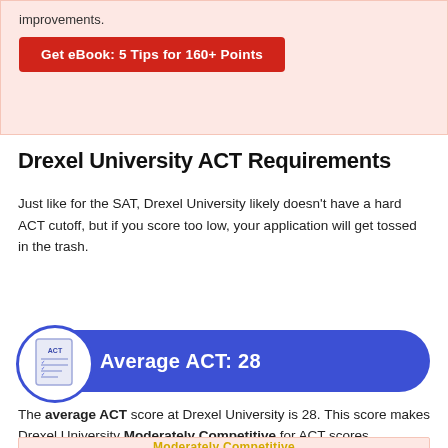improvements.
Get eBook: 5 Tips for 160+ Points
Drexel University ACT Requirements
Just like for the SAT, Drexel University likely doesn't have a hard ACT cutoff, but if you score too low, your application will get tossed in the trash.
[Figure (infographic): Blue rounded banner with ACT document icon showing Average ACT: 28]
The average ACT score at Drexel University is 28. This score makes Drexel University Moderately Competitive for ACT scores.
Moderately Competitive